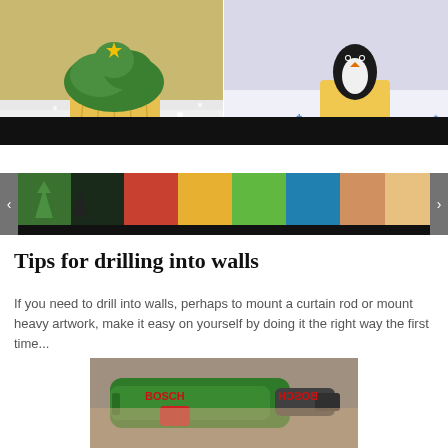[Figure (photo): Two side-by-side food photos: left shows a yellow cupcake with green Christmas tree frosting on snowy background; right shows penguin-themed cupcake with blue snowflake decorations]
[Figure (photo): Thumbnail strip carousel with four small food/craft photos and left/right navigation arrows]
Tips for drilling into walls
If you need to drill into walls, perhaps to mount a curtain rod or mount heavy artwork, make it easy on yourself by doing it the right way the first time...
[Figure (photo): Close-up photo of a green Bosch power drill being held by a person]